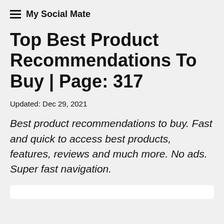My Social Mate
Top Best Product Recommendations To Buy | Page: 317
Updated: Dec 29, 2021
Best product recommendations to buy. Fast and quick to access best products, features, reviews and much more. No ads. Super fast navigation.